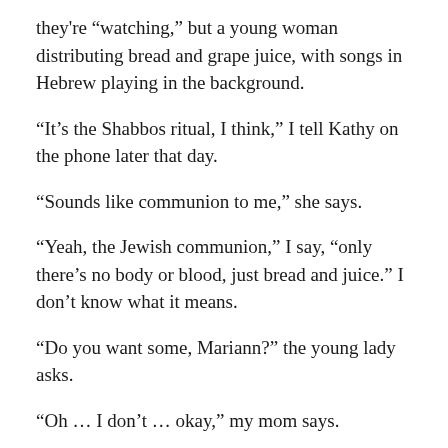they're “watching,” but a young woman distributing bread and grape juice, with songs in Hebrew playing in the background.
“It’s the Shabbos ritual, I think,” I tell Kathy on the phone later that day.
“Sounds like communion to me,” she says.
“Yeah, the Jewish communion,” I say, “only there’s no body or blood, just bread and juice.” I don’t know what it means.
“Do you want some, Mariann?” the young lady asks.
“Oh … I don’t … okay,” my mom says.
The young woman tears her off a very small piece of bread, and gives her about an inch and a half of juice in a